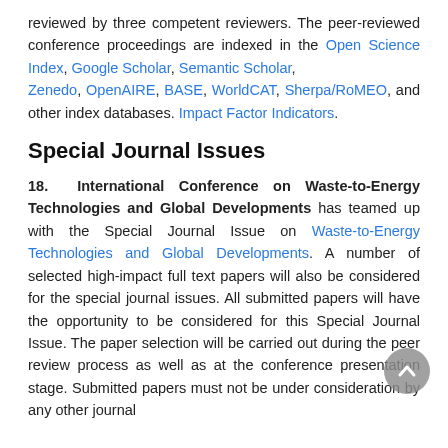reviewed by three competent reviewers. The peer-reviewed conference proceedings are indexed in the Open Science Index, Google Scholar, Semantic Scholar, Zenedo, OpenAIRE, BASE, WorldCAT, Sherpa/RoMEO, and other index databases. Impact Factor Indicators.
Special Journal Issues
18. International Conference on Waste-to-Energy Technologies and Global Developments has teamed up with the Special Journal Issue on Waste-to-Energy Technologies and Global Developments. A number of selected high-impact full text papers will also be considered for the special journal issues. All submitted papers will have the opportunity to be considered for this Special Journal Issue. The paper selection will be carried out during the peer review process as well as at the conference presentation stage. Submitted papers must not be under consideration by any other journal